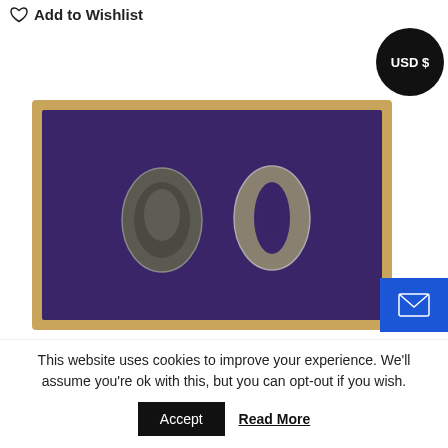Add to Wishlist
[Figure (photo): Two Japanese sword fittings (menuki/kozuka) displayed on purple velvet in a wooden framed display box. Left item is an oval dark metal piece, right item is an oval metal piece with an opening.]
This website uses cookies to improve your experience. We'll assume you're ok with this, but you can opt-out if you wish.
Accept   Read More